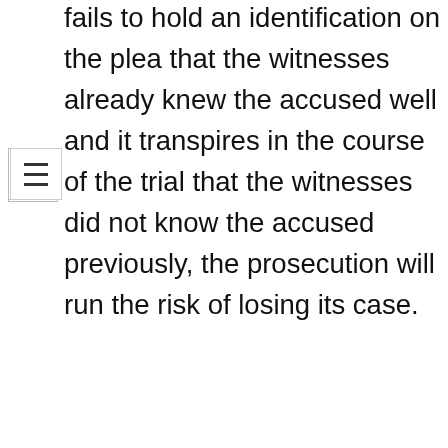fails to hold an identification on the plea that the witnesses already knew the accused well and it transpires in the course of the trial that the witnesses did not know the accused previously, the prosecution will run the risk of losing its case.
Latest Posts
[Figure (photo): Photo showing a person holding a paper with INTERNSHIP written in bold blue italic letters, with colorful decorative border]
Internship Opportunity at Thomas